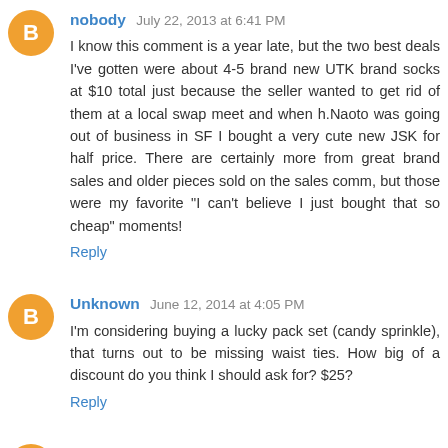nobody July 22, 2013 at 6:41 PM
I know this comment is a year late, but the two best deals I've gotten were about 4-5 brand new UTK brand socks at $10 total just because the seller wanted to get rid of them at a local swap meet and when h.Naoto was going out of business in SF I bought a very cute new JSK for half price. There are certainly more from great brand sales and older pieces sold on the sales comm, but those were my favorite "I can't believe I just bought that so cheap" moments!
Reply
Unknown June 12, 2014 at 4:05 PM
I'm considering buying a lucky pack set (candy sprinkle), that turns out to be missing waist ties. How big of a discount do you think I should ask for? $25?
Reply
Unknown February 3, 2015 at 4:26 PM